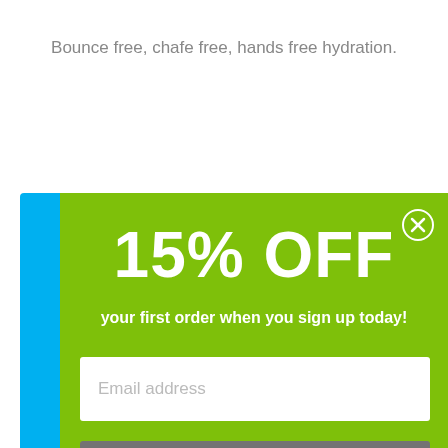Bounce free, chafe free, hands free hydration.
[Figure (screenshot): A green promotional popup offering 15% OFF on the first order when signing up, with an email address input field and a Subscribe Now button. A blue product is partially visible on the left edge of the popup.]